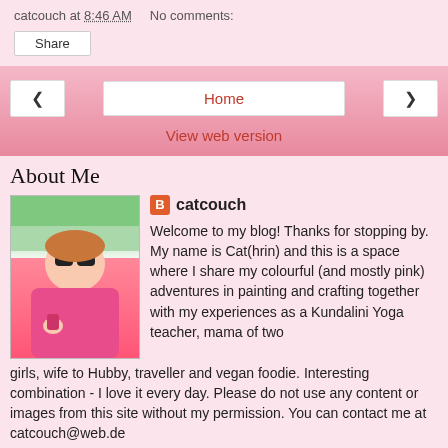catcouch at 8:46 AM   No comments:
Share
‹   Home   ›
View web version
About Me
[Figure (photo): Profile photo of catcouch, a woman in a pink top wearing sunglasses, outdoors]
catcouch
Welcome to my blog! Thanks for stopping by. My name is Cat(hrin) and this is a space where I share my colourful (and mostly pink) adventures in painting and crafting together with my experiences as a Kundalini Yoga teacher, mama of two girls, wife to Hubby, traveller and vegan foodie. Interesting combination - I love it every day. Please do not use any content or images from this site without my permission. You can contact me at catcouch@web.de
View my complete profile
Powered by Blogger.